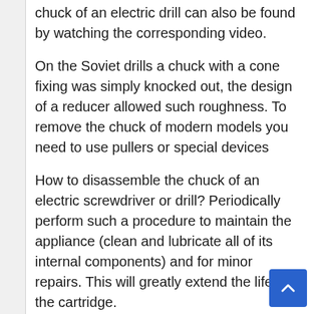chuck of an electric drill can also be found by watching the corresponding video.
On the Soviet drills a chuck with a cone fixing was simply knocked out, the design of a reducer allowed such roughness. To remove the chuck of modern models you need to use pullers or special devices
How to disassemble the chuck of an electric screwdriver or drill? Periodically perform such a procedure to maintain the appliance (clean and lubricate all of its internal components) and for minor repairs. This will greatly extend the life of the cartridge.
When disassembling the cartridge, take into account the type of cartridge you are using.